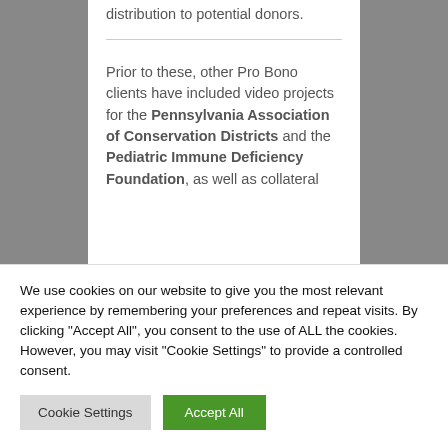distribution to potential donors.
Prior to these, other Pro Bono clients have included video projects for the Pennsylvania Association of Conservation Districts and the Pediatric Immune Deficiency Foundation, as well as collateral
We use cookies on our website to give you the most relevant experience by remembering your preferences and repeat visits. By clicking “Accept All”, you consent to the use of ALL the cookies. However, you may visit “Cookie Settings” to provide a controlled consent.